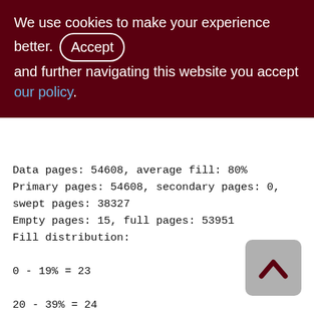We use cookies to make your experience better. By accepting and further navigating this website you accept our policy.
Data pages: 54608, average fill: 80%
Primary pages: 54608, secondary pages: 0,
swept pages: 38327
Empty pages: 15, full pages: 53951
Fill distribution:
0 - 19% = 23
20 - 39% = 24
40 - 59% = 137
60 - 79% = 18030
80 - 99% = 36394

Index XQS_2100_3300_DOC_ID (0)
Root page: 00055, depth: 0, leaf buckets: